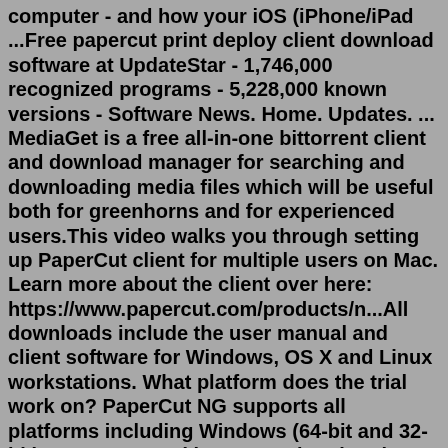computer - and how your iOS (iPhone/iPad ...Free papercut print deploy client download software at UpdateStar - 1,746,000 recognized programs - 5,228,000 known versions - Software News. Home. Updates. ... MediaGet is a free all-in-one bittorrent client and download manager for searching and downloading media files which will be useful both for greenhorns and for experienced users.This video walks you through setting up PaperCut client for multiple users on Mac. Learn more about the client over here: https://www.papercut.com/products/n...All downloads include the user manual and client software for Windows, OS X and Linux workstations. What platform does the trial work on? PaperCut NG supports all platforms including Windows (64-bit and 32-bit), OS X servers (the system hosting the print queues) or Linux x64 (64-bit) servers running CUPS or Samba print queues and Novell OES ... This video walks you through setting up PaperCut client for multiple users on Mac. Learn more about the client over here: